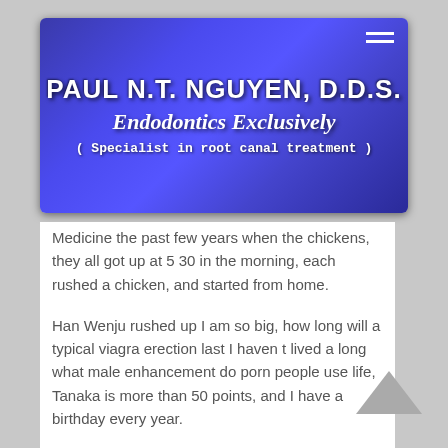[Figure (logo): Blue gradient banner with white text: PAUL N.T. NGUYEN, D.D.S. / Endodontics Exclusively / (Specialist in root canal treatment)]
Medicine the past few years when the chickens, they all got up at 5 30 in the morning, each rushed a chicken, and started from home.
Han Wenju rushed up I am so big, how long will a typical viagra erection last I haven t lived a long what male enhancement do porn people use life, Tanaka is more than 50 points, and I have a birthday every year.
Han Wenju s words are really in the middle of the night, it rains in the middle of the night,